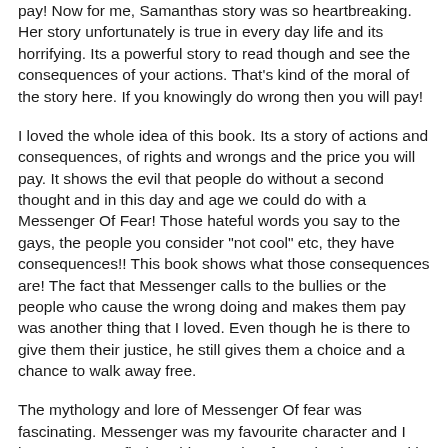pay! Now for me, Samanthas story was so heartbreaking. Her story unfortunately is true in every day life and its horrifying. Its a powerful story to read though and see the consequences of your actions. That's kind of the moral of the story here. If you knowingly do wrong then you will pay!
I loved the whole idea of this book. Its a story of actions and consequences, of rights and wrongs and the price you will pay. It shows the evil that people do without a second thought and in this day and age we could do with a Messenger Of Fear! Those hateful words you say to the gays, the people you consider "not cool" etc, they have consequences!! This book shows what those consequences are! The fact that Messenger calls to the bullies or the people who cause the wrong doing and makes them pay was another thing that I loved. Even though he is there to give them their justice, he still gives them a choice and a chance to walk away free.
The mythology and lore of Messenger Of fear was fascinating. Messenger was my favourite character and I hope we get to find out his story in a future book. Even with the evil he sees and what he has to do, he is still